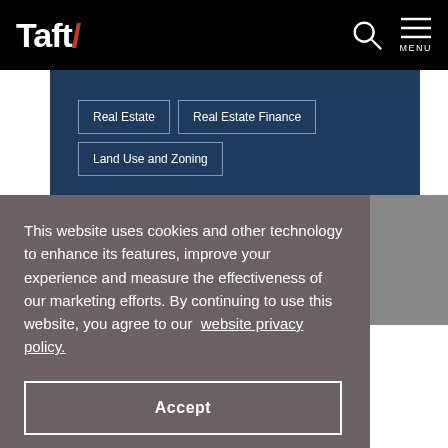Taft/
Real Estate
Real Estate Finance
Land Use and Zoning
This website uses cookies and other technology to enhance its features, improve your experience and measure the effectiveness of our marketing efforts. By continuing to use this website, you agree to our website privacy policy.
Accept
News & Events